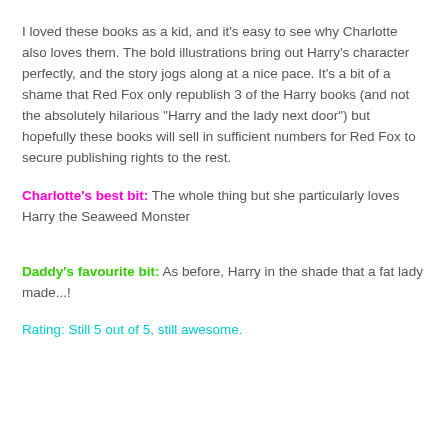I loved these books as a kid, and it's easy to see why Charlotte also loves them. The bold illustrations bring out Harry's character perfectly, and the story jogs along at a nice pace. It's a bit of a shame that Red Fox only republish 3 of the Harry books (and not the absolutely hilarious "Harry and the lady next door") but hopefully these books will sell in sufficient numbers for Red Fox to secure publishing rights to the rest.
Charlotte's best bit: The whole thing but she particularly loves Harry the Seaweed Monster
Daddy's favourite bit: As before, Harry in the shade that a fat lady made...!
Rating: Still 5 out of 5, still awesome.